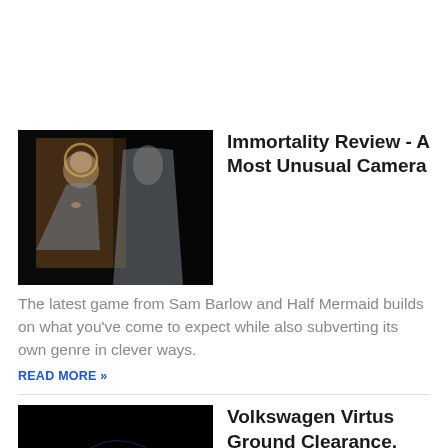[Figure (photo): Dark image showing a religious painting of a woman with a halo beside a figure in white robes]
Immortality Review - A Most Unusual Camera
The latest game from Sam Barlow and Half Mermaid builds on what you've come to expect while also subverting its own genre in clever ways.
READ MORE »
[Figure (photo): Dark image with blue light trails and particles creating an abstract cosmic design]
Volkswagen Virtus Ground Clearance, Boot Space & Dimensions